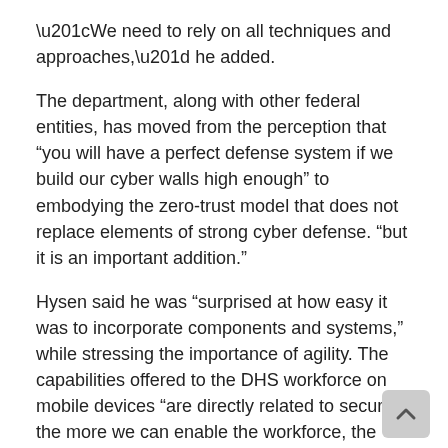“We need to rely on all techniques and approaches,” he added.
The department, along with other federal entities, has moved from the perception that “you will have a perfect defense system if we build our cyber walls high enough” to embodying the zero-trust model that does not replace elements of strong cyber defense. “but it is an important addition.”
Hysen said he was “surprised at how easy it was to incorporate components and systems,” while stressing the importance of agility. The capabilities offered to the DHS workforce on mobile devices “are directly related to security: the more we can enable the workforce, the less they will try to find workarounds.”
“There is a critical connection there,” the CIO emphasized.
Cyber hygiene work at DHS is “still evolving,” including testing to determine the best model to adopt and issuing…